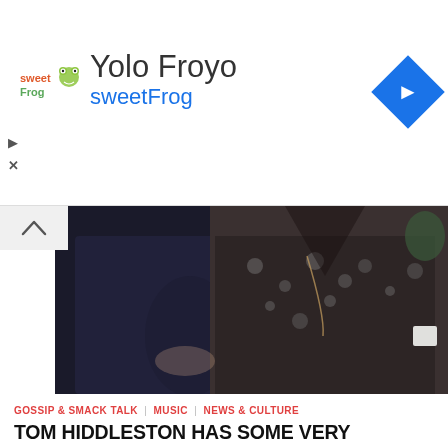[Figure (logo): sweetFrog logo with colorful text and froyo icon]
Yolo Froyo
sweetFrog
[Figure (photo): Two people standing close together, man in dark shirt and woman in floral dress]
GOSSIP & SMACK TALK | MUSIC | NEWS & CULTURE
TOM HIDDLESTON HAS SOME VERY INTERESTING THINGS TO SAY ABOUT HIS FORMER LOVER TAYLOR SWIFT… IT'S ALL OUT THERE NOW!
Tom Hiddleston's brief (but passionate) relationship with Taylor Swift last summer was unique for several reasons. The first one being...
8 FEB   0   0